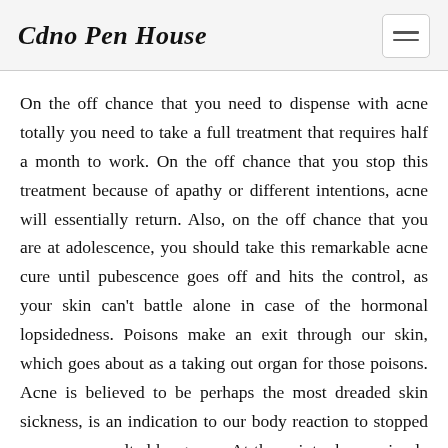Cdno Pen House
On the off chance that you need to dispense with acne totally you need to take a full treatment that requires half a month to work. On the off chance that you stop this treatment because of apathy or different intentions, acne will essentially return. Also, on the off chance that you are at adolescence, you should take this remarkable acne cure until pubescence goes off and hits the control, as your skin can't battle alone in case of the hormonal lopsidedness. Poisons make an exit through our skin, which goes about as a taking out organ for those poisons. Acne is believed to be perhaps the most dreaded skin sickness, is an indication to our body reaction to stopped up pores assaulted by germs. At the point when a pimple wraps